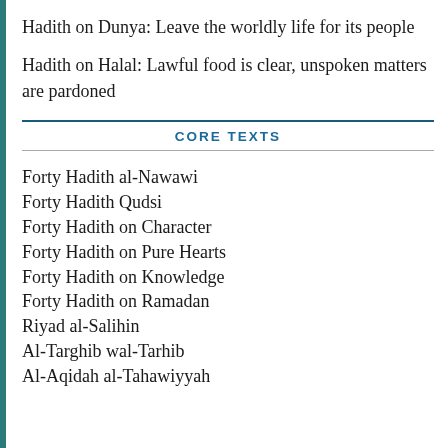Hadith on Dunya: Leave the worldly life for its people
Hadith on Halal: Lawful food is clear, unspoken matters are pardoned
CORE TEXTS
Forty Hadith al-Nawawi
Forty Hadith Qudsi
Forty Hadith on Character
Forty Hadith on Pure Hearts
Forty Hadith on Knowledge
Forty Hadith on Ramadan
Riyad al-Salihin
Al-Targhib wal-Tarhib
Al-Aqidah al-Tahawiyyah